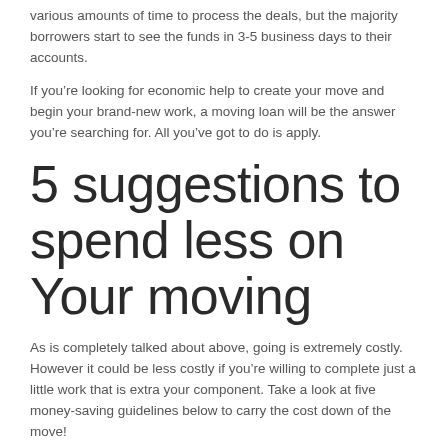various amounts of time to process the deals, but the majority borrowers start to see the funds in 3-5 business days to their accounts.
If you're looking for economic help to create your move and begin your brand-new work, a moving loan will be the answer you're searching for. All you've got to do is apply.
5 suggestions to spend less on Your moving
As is completely talked about above, going is extremely costly. However it could be less costly if you're willing to complete just a little work that is extra your component. Take a look at five money-saving guidelines below to carry the cost down of the move!